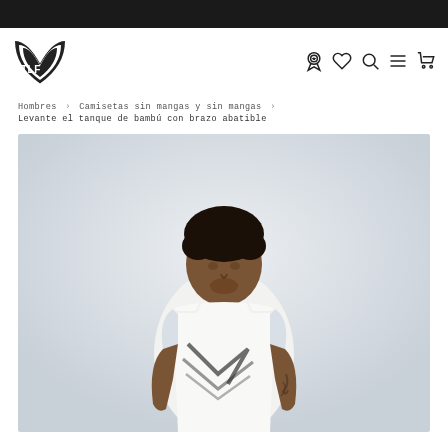[Figure (logo): TLF brand logo - stylized V shape with TLF text]
Hombres › Camisetas sin mangas y sin mangas › Levante el tanque de bambú con brazo abatible
[Figure (photo): Man wearing white sleeveless tank top with graphic print, light grey background]